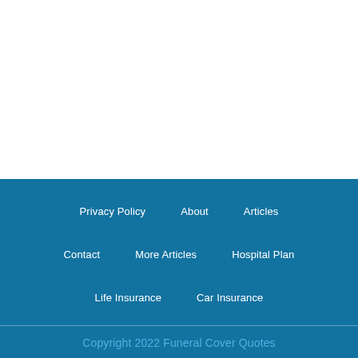Privacy Policy
About
Articles
Contact
More Articles
Hospital Plan
Life Insurance
Car Insurance
Copyright 2022 Funeral Cover Quotes